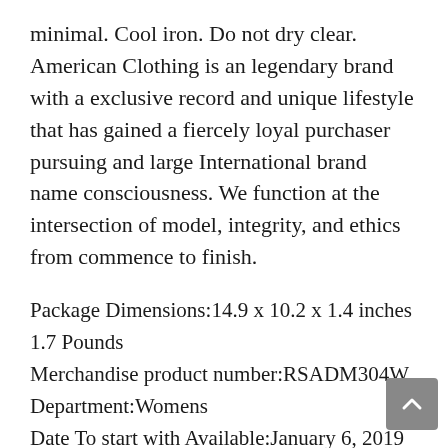minimal. Cool iron. Do not dry clear. American Clothing is an legendary brand with a exclusive record and unique lifestyle that has gained a fiercely loyal purchaser pursuing and large International brand name consciousness. We function at the intersection of model, integrity, and ethics from commence to finish.
Package Dimensions:14.9 x 10.2 x 1.4 inches 1.7 Pounds
Merchandise product number:RSADM304W
Department:Womens
Date To start with Available:January 6, 2019
Manufacturer:American Attire
ASIN:B07WXDTTW6